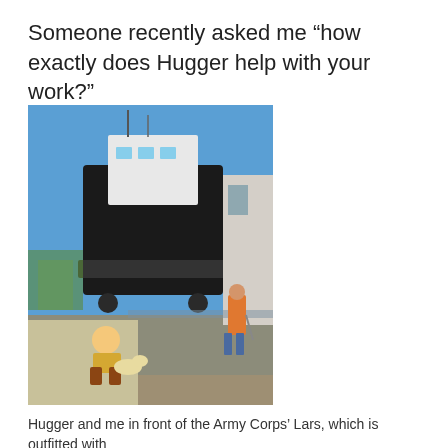Someone recently asked me “how exactly does Hugger help with your work?”
[Figure (photo): A person crouching next to a dog in front of a large dark military-style boat on a trailer in an outdoor area with a blue sky. Another person is visible in the background near a building.]
Hugger and me in front of the Army Corps’ Lars, which is outfitted with